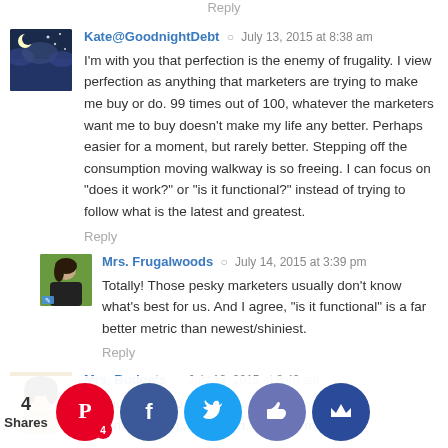Reply
Kate@GoodnightDebt · July 13, 2015 at 8:38 am
I'm with you that perfection is the enemy of frugality. I view perfection as anything that marketers are trying to make me buy or do. 99 times out of 100, whatever the marketers want me to buy doesn't make my life any better. Perhaps easier for a moment, but rarely better. Stepping off the consumption moving walkway is so freeing. I can focus on "does it work?" or "is it functional?" instead of trying to follow what is the latest and greatest.
Reply
Mrs. Frugalwoods · July 14, 2015 at 3:39 pm
Totally! Those pesky marketers usually don't know what's best for us. And I agree, "is it functional" is a far better metric than newest/shiniest.
Reply
Mrs. Budgets · July 13, 2015 at 8:40 am
Y...ction ...emy o...y. I em... imperfections m...ow that h...o much m...frugal.